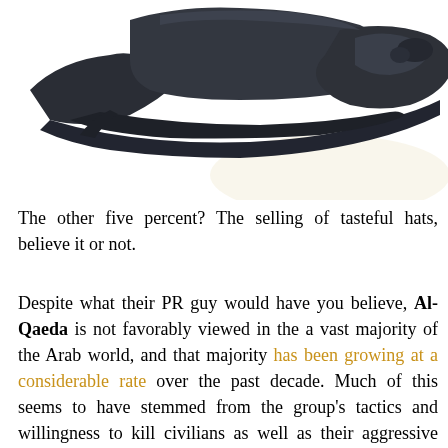[Figure (photo): A dark navy/black tricorn hat photographed against a white background, showing the top portion of the hat.]
The other five percent? The selling of tasteful hats, believe it or not.
Despite what their PR guy would have you believe, Al-Qaeda is not favorably viewed in the a vast majority of the Arab world, and that majority has been growing at a considerable rate over the past decade. Much of this seems to have stemmed from the group's tactics and willingness to kill civilians as well as their aggressive nature (the Quran states that one should act aggressively only in self-defense